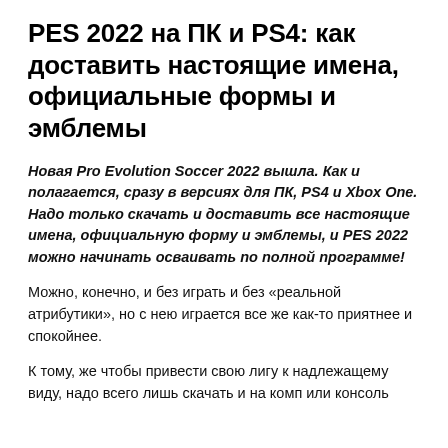PES 2022 на ПК и PS4: как доставить настоящие имена, официальные формы и эмблемы
Новая Pro Evolution Soccer 2022 вышла. Как и полагается, сразу в версиях для ПК, PS4 и Xbox One. Надо только скачать и доставить все настоящие имена, официальную форму и эмблемы, и PES 2022 можно начинать осваивать по полной программе!
Можно, конечно, и без играть и без «реальной атрибутики», но с нею играется все же как-то приятнее и спокойнее.
К тому, же чтобы привести свою лигу к надлежащему виду, надо всего лишь скачать и на комп или консоль